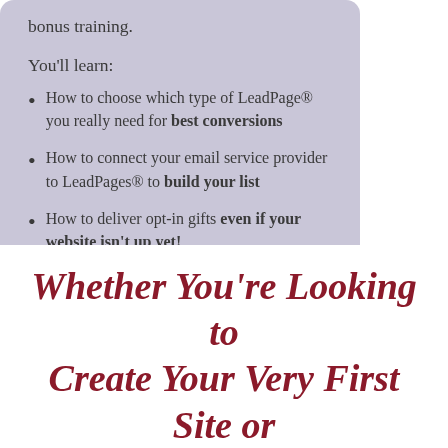bonus training.
You'll learn:
How to choose which type of LeadPage® you really need for best conversions
How to connect your email service provider to LeadPages® to build your list
How to deliver opt-in gifts even if your website isn't up yet!
How to seamlessly integrate your LeadPages® with WordPress – on your own domain
Whether You're Looking to Create Your Very First Site or